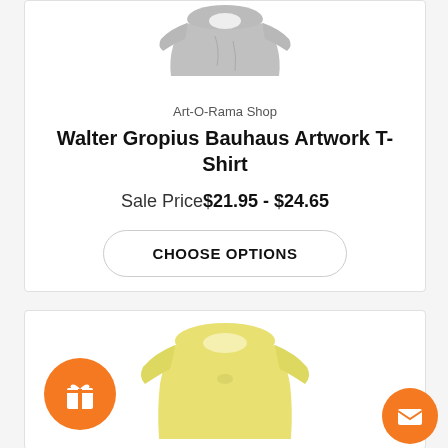[Figure (photo): Gray folded t-shirt product image at top of card]
Art-O-Rama Shop
Walter Gropius Bauhaus Artwork T-Shirt
Sale Price$21.95 - $24.65
CHOOSE OPTIONS
[Figure (photo): Yellow t-shirt product image in second card, partially visible]
[Figure (illustration): Orange circle gift icon button in lower left]
[Figure (illustration): Orange circle mail/envelope icon button in lower right]